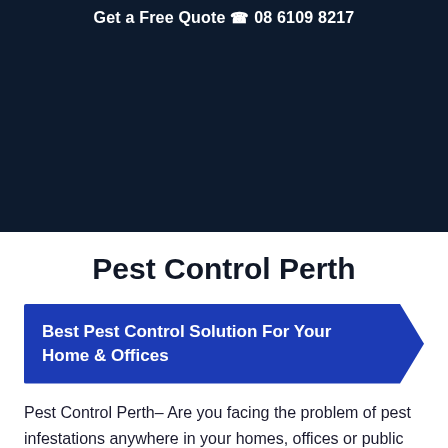Get a Free Quote ☎ 08 6109 8217
[Figure (photo): Dark navy blue hero image area, largely empty/dark background]
Pest Control Perth
Best Pest Control Solution For Your Home & Offices
Pest Control Perth– Are you facing the problem of pest infestations anywhere in your homes, offices or public